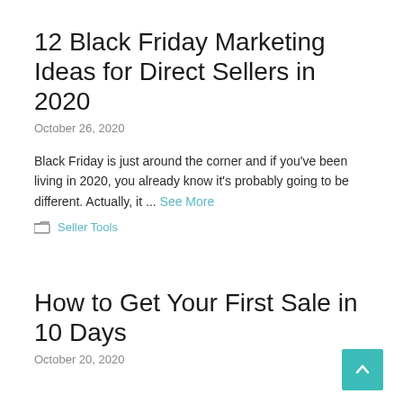12 Black Friday Marketing Ideas for Direct Sellers in 2020
October 26, 2020
Black Friday is just around the corner and if you've been living in 2020, you already know it's probably going to be different. Actually, it ... See More
Seller Tools
How to Get Your First Sale in 10 Days
October 20, 2020